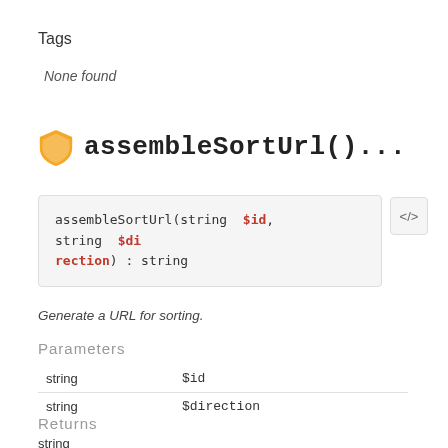Tags
None found
assembleSortUrl()...
assembleSortUrl(string $id, string $direction) : string
Generate a URL for sorting.
Parameters
|  |  |
| --- | --- |
| string | $id |
| string | $direction |
Returns
string